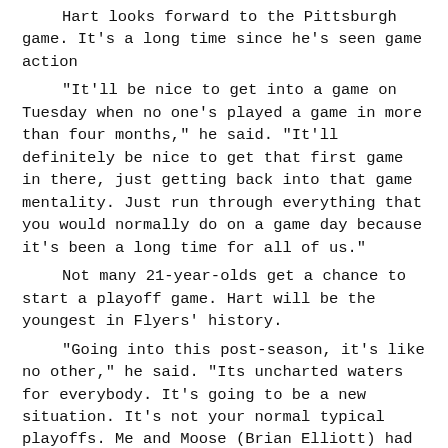Hart looks forward to the Pittsburgh game. It's a long time since he's seen game action
"It'll be nice to get into a game on Tuesday when no one's played a game in more than four months," he said. "It'll definitely be nice to get that first game in there, just getting back into that game mentality. Just run through everything that you would normally do on a game day because it's been a long time for all of us."
Not many 21-year-olds get a chance to start a playoff game. Hart will be the youngest in Flyers' history.
"Going into this post-season, it's like no other," he said. "Its uncharted waters for everybody. It's going to be a new situation. It's not your normal typical playoffs. Me and Moose (Brian Elliott) had a good chat there on the bench that one scrimmage and we were just taking a break between periods. He said to me, 'This is what it's going to be like for your first playoff game.' That's pretty crazy.
"Playoff games he said are mostly about atmosphere and all that so it's going to be different for everybody. I think as athletes, as professionals, that's our job to adapt and